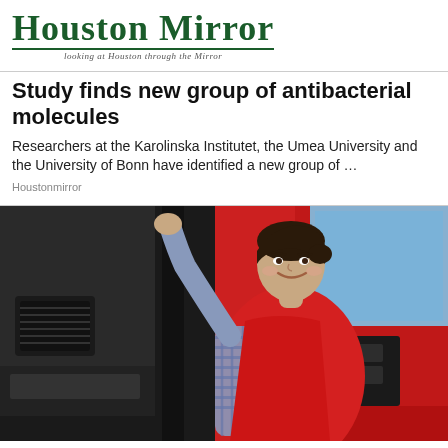HOUSTON MIRROR
looking at Houston through the Mirror
Study finds new group of antibacterial molecules
Researchers at the Karolinska Institutet, the Umea University and the University of Bonn have identified a new group of …
Houstonmirror
[Figure (photo): Woman in red vest and plaid shirt holding the door handle of a large red truck, smiling at the camera. Truck interior visible in background.]